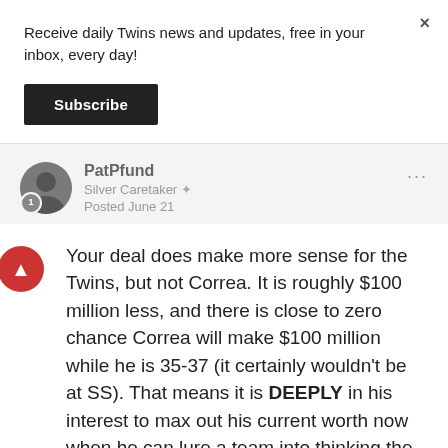Receive daily Twins news and updates, free in your inbox, every day!
Subscribe
PatPfund
Silver Caretaker
Posted June 21
Your deal does make more sense for the Twins, but not Correa. It is roughly $100 million less, and there is close to zero chance Correa will make $100 million while he is 35-37 (it certainly wouldn't be at SS). That means it is DEEPLY in his interest to max out his current worth now when he can lure a team into thinking the wasted end-contract seasons are worth it.